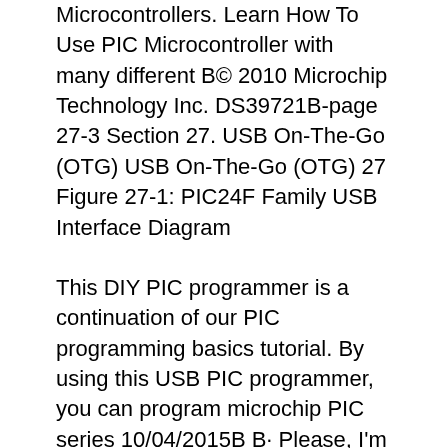Microcontrollers. Learn How To Use PIC Microcontroller with many different B© 2010 Microchip Technology Inc. DS39721B-page 27-3 Section 27. USB On-The-Go (OTG) USB On-The-Go (OTG) 27 Figure 27-1: PIC24F Family USB Interface Diagram
This DIY PIC programmer is a continuation of our PIC programming basics tutorial. By using this USB PIC programmer, you can program microchip PIC series 10/04/2015B B· Please, I'm trying (for days) to find a working example of USB communication using a PIC 18F2550, and, if possible, in the 18F4550 too. All I need is to understand
Microchip PIC MCUs Tutorials . Learn Embedded